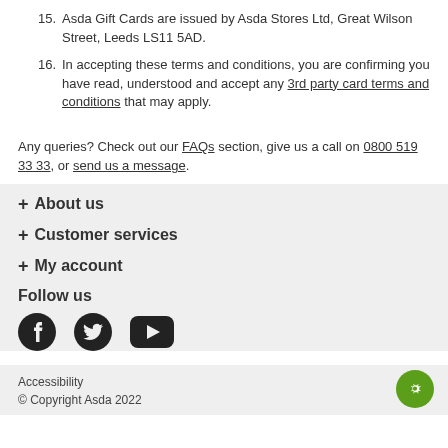15. Asda Gift Cards are issued by Asda Stores Ltd, Great Wilson Street, Leeds LS11 5AD.
16. In accepting these terms and conditions, you are confirming you have read, understood and accept any 3rd party card terms and conditions that may apply.
Any queries? Check out our FAQs section, give us a call on 0800 519 33 33, or send us a message.
+ About us
+ Customer services
+ My account
Follow us
[Figure (infographic): Social media icons: Facebook, Twitter, YouTube]
Accessibility
© Copyright Asda 2022